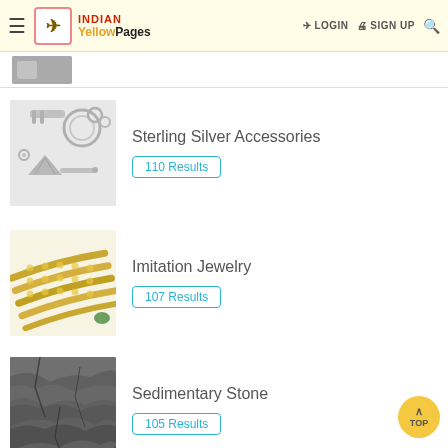Indian Yellow Pages — LOGIN  SIGN UP
Sterling Silver Accessories — 110 Results
Imitation Jewelry — 107 Results
Sedimentary Stone — 105 Results